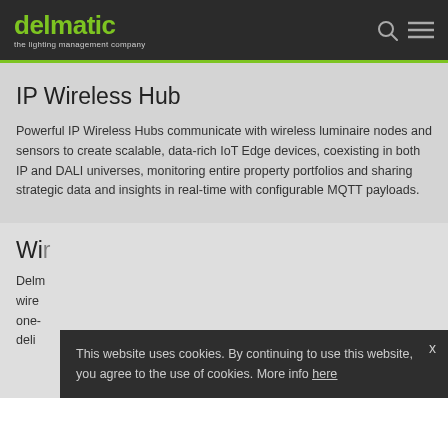delmatic — the lighting management company
IP Wireless Hub
Powerful IP Wireless Hubs communicate with wireless luminaire nodes and sensors to create scalable, data-rich IoT Edge devices, coexisting in both IP and DALI universes, monitoring entire property portfolios and sharing strategic data and insights in real-time with configurable MQTT payloads.
Wi...
Delm... wire... one-... deli...
This website uses cookies. By continuing to use this website, you agree to the use of cookies. More info here